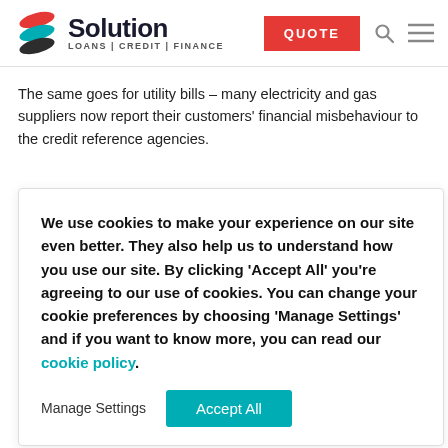Solution LOANS | CREDIT | FINANCE
The same goes for utility bills – many electricity and gas suppliers now report their customers' financial misbehaviour to the credit reference agencies.
We use cookies to make your experience on our site even better. They also help us to understand how you use our site. By clicking 'Accept All' you're agreeing to our use of cookies. You can change your cookie preferences by choosing 'Manage Settings' and if you want to know more, you can read our cookie policy.
ouples with less orce than those our short and long- vital when you m relationship, your debts and tackle them. It will k to a joint budget.